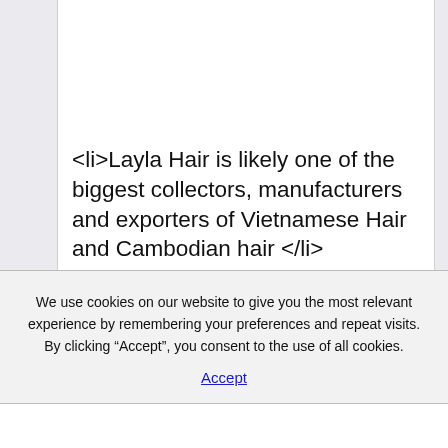<li>Layla Hair is likely one of the biggest collectors, manufacturers and exporters of Vietnamese Hair and Cambodian hair </li>
We use cookies on our website to give you the most relevant experience by remembering your preferences and repeat visits. By clicking “Accept”, you consent to the use of all cookies.
Accept
you’ll find new, online-only offers, retailer reductions and the chance to avoid
wasting much more by collecting coupons. But you may have to behave fast as this prime 13x4 lace wig is about to turn into one